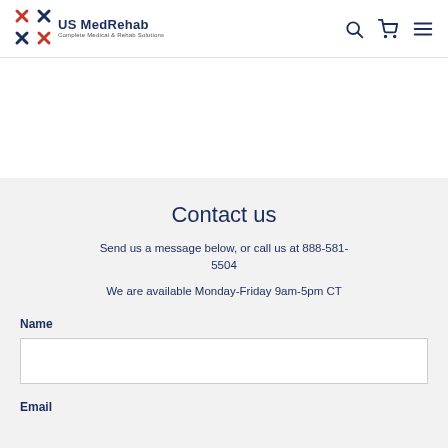[Figure (logo): US MedRehab logo with red and blue X mark and text 'US MedRehab Complete Medical & Rehab Solutions']
Contact us
Send us a message below, or call us at 888-581-5504
We are available Monday-Friday 9am-5pm CT
Name
Email